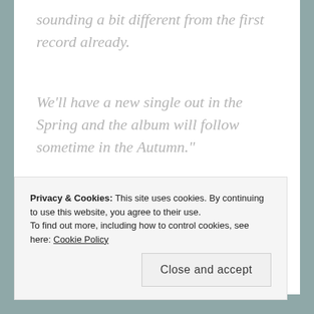sounding a bit different from the first record already.
We'll have a new single out in the Spring and the album will follow sometime in the Autumn."
T&P
Privacy & Cookies: This site uses cookies. By continuing to use this website, you agree to their use.
To find out more, including how to control cookies, see here: Cookie Policy
Close and accept